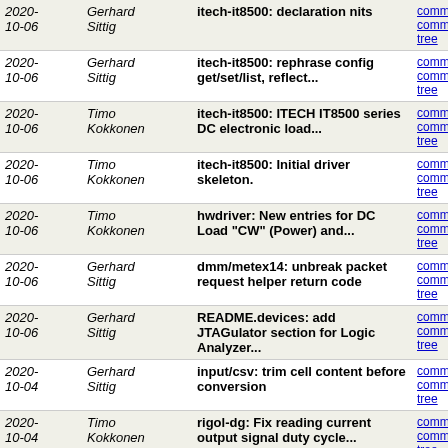| Date | Author | Message | Links |
| --- | --- | --- | --- |
| 2020-10-06 | Gerhard Sittig | itech-it8500: declaration nits | commit | commitdiff | tree |
| 2020-10-06 | Gerhard Sittig | itech-it8500: rephrase config get/set/list, reflect... | commit | commitdiff | tree |
| 2020-10-06 | Timo Kokkonen | itech-it8500: ITECH IT8500 series DC electronic load... | commit | commitdiff | tree |
| 2020-10-06 | Timo Kokkonen | itech-it8500: Initial driver skeleton. | commit | commitdiff | tree |
| 2020-10-06 | Timo Kokkonen | hwdriver: New entries for DC Load "CW" (Power) and... | commit | commitdiff | tree |
| 2020-10-06 | Gerhard Sittig | dmm/metex14: unbreak packet request helper return code | commit | commitdiff | tree |
| 2020-10-06 | Gerhard Sittig | README.devices: add JTAGulator section for Logic Analyzer... | commit | commitdiff | tree |
| 2020-10-04 | Gerhard Sittig | input/csv: trim cell content before conversion | commit | commitdiff | tree |
| 2020-10-04 | Timo Kokkonen | rigol-dg: Fix reading current output signal duty cycle... | commit | commitdiff | tree |
| 2020-10-04 | Timo Kokkonen | rigol-dg: Add Rigol DG800 and DG900 series support. | commit | commitdiff | tree |
| 2020-10-04 | Timo Kokkonen | udev: Add Rigol DG800 and DG900 series VID/PID. | commit | commitdiff | tree |
| 2020-10-03 | Gerhard Sittig | pce-322a: unbreak send_command() return code | commit | commitdiff | tree |
| 2020-09-28 | Gerhard Sittig | rigol-dg: reduce redundancy in malloc() calls | commit | commitdiff | tree |
| 2020- | Timo | udev: Add Rigol DG1000z Series | commit |